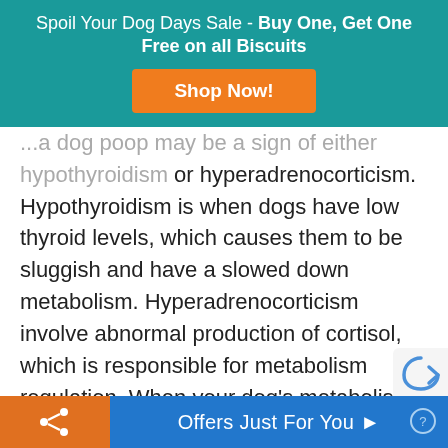[Figure (infographic): Teal promotional banner with text 'Spoil Your Dog Days Sale - Buy One, Get One Free on all Biscuits' and an orange 'Shop Now!' button]
...a dog poop may be a sign of either hypothyroidism or hyperadrenocorticism. Hypothyroidism is when dogs have low thyroid levels, which causes them to be sluggish and have a slowed down metabolism. Hyperadrenocorticism involve abnormal production of cortisol, which is responsible for metabolism regulation. When your dog’s metabolism is off, his poop might be off too. Luckily, metabolic diseases are relatively common and might be easily diagnosed using a normal blood test. But, these conditions can be more extensive so always visit your vet for a professional opinion.
Offers Just For You